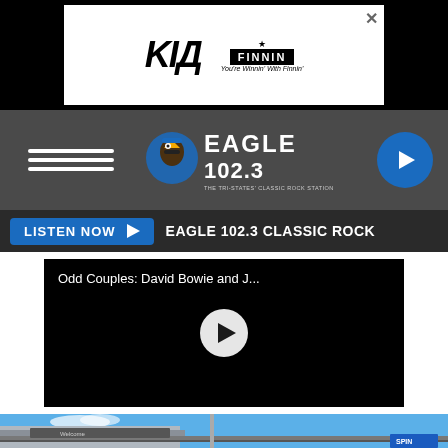[Figure (screenshot): Advertisement banner showing KIA logo and Finnin dealership logo on white background with black border]
[Figure (logo): Eagle 102.3 The Tri-States Classic Rock Station radio station logo with eagle mascot on dark gray navigation bar]
LISTEN NOW ▶  EAGLE 102.3 CLASSIC ROCK
[Figure (screenshot): Video player showing title 'Odd Couples: David Bowie and J...' with play button on black background]
[Figure (photo): Outdoor photograph showing a building with signage under blue sky]